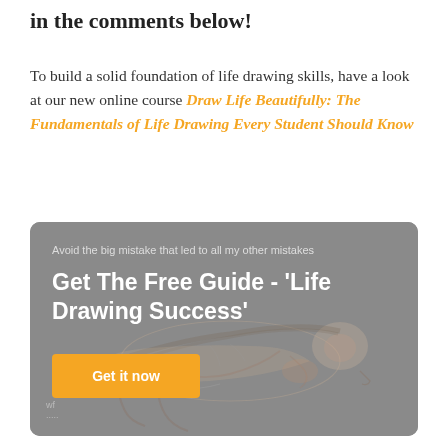in the comments below!
To build a solid foundation of life drawing skills, have a look at our new online course Draw Life Beautifully: The Fundamentals of Life Drawing Every Student Should Know
[Figure (infographic): Promotional banner with a grey background showing a sketch/drawing of a reclining figure. Overlaid text reads: 'Avoid the big mistake that led to all my other mistakes', then 'Get The Free Guide - 'Life Drawing Success'', and an orange button labeled 'Get it now'.]